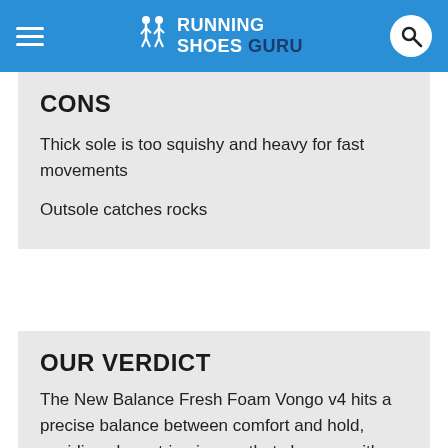RUNNING SHOES GURU
CONS
Thick sole is too squishy and heavy for fast movements
Outsole catches rocks
OUR VERDICT
The New Balance Fresh Foam Vongo v4 hits a precise balance between comfort and hold, avoiding shoe string issues that show up with thin tongues by